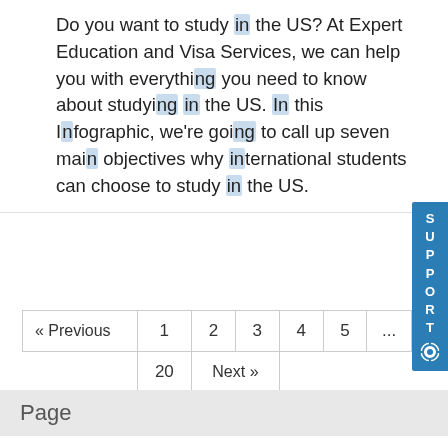Do you want to study in the US? At Expert Education and Visa Services, we can help you with everything you need to know about studying in the US. In this Infographic, we're going to call up seven main objectives why international students can choose to study in the US.
| « Previous | 1 | 2 | 3 | 4 | 5 | ... |
|  | 20 | Next » |  |  |  |  |
Page